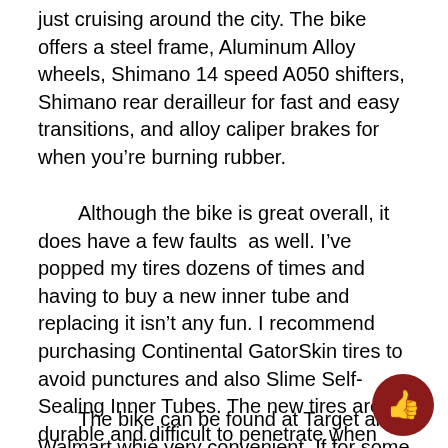just cruising around the city. The bike offers a steel frame, Aluminum Alloy wheels, Shimano 14 speed A050 shifters, Shimano rear derailleur for fast and easy transitions, and alloy caliper brakes for when you're burning rubber.
Although the bike is great overall, it does have a few faults as well. I've popped my tires dozens of times and having to buy a new inner tube and replacing it isn't any fun. I recommend purchasing Continental GatorSkin tires to avoid punctures and also Slime Self-Sealing Inner Tubes. The new tires are durable and difficult to penetrate when you face glass or nails on the city streets. The new inner tubes will allow small punctures to self seal while you're riding so that it doesn't ruin a perfect biking day.
The bike can be found at Target and Walmart which is very convenient. If for some reason it's not in stock the...